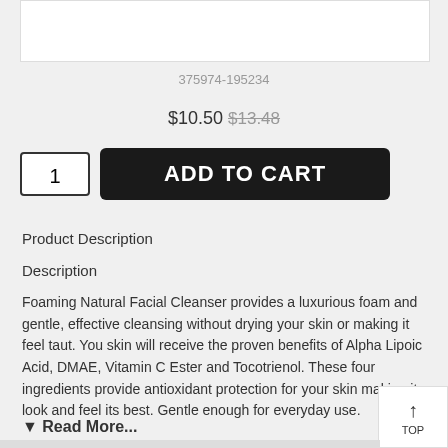[Figure (other): White product image box at top of page]
375974-195234
$10.50 $13.48
1
ADD TO CART
Product Description
Description
Foaming Natural Facial Cleanser provides a luxurious foam and gentle, effective cleansing without drying your skin or making it feel taut. You skin will receive the proven benefits of Alpha Lipoic Acid, DMAE, Vitamin C Ester and Tocotrienol. These four ingredients provide antioxidant protection for your skin making it look and feel its best. Gentle enough for everyday use.
▼ Read More...